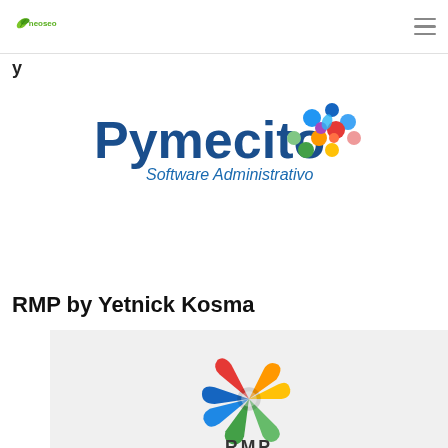Neoseo logo and navigation menu
[Figure (logo): Pymecito Software Administrativo logo with colorful dot cluster graphic]
RMP by Yetnick Kosma
[Figure (logo): RMP logo with colorful windmill/star graphic and text RMP below]